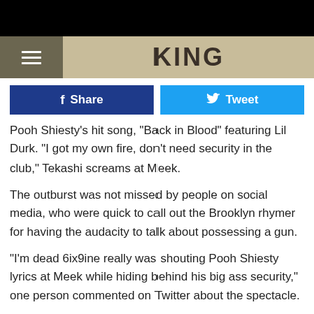KING
Share
Tweet
Pooh Shiesty's hit song, "Back in Blood" featuring Lil Durk. "I got my own fire, don't need security in the club," Tekashi screams at Meek.
The outburst was not missed by people on social media, who were quick to call out the Brooklyn rhymer for having the audacity to talk about possessing a gun.
"I'm dead 6ix9ine really was shouting Pooh Shiesty lyrics at Meek while hiding behind his big ass security," one person commented on Twitter about the spectacle.